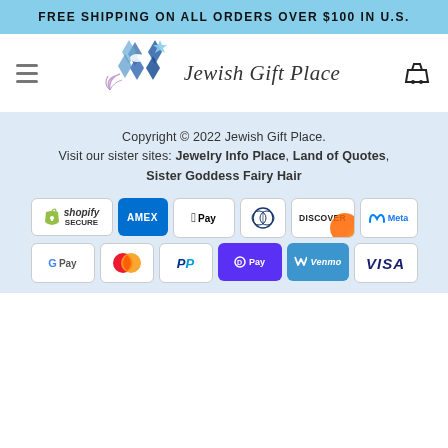FREE SHIPPING ON ALL ORDERS OVER $100 IN U.S.
[Figure (logo): Jewish Gift Place logo with Star of David and dove graphic, alongside text 'Jewish Gift Place' in italic serif font]
Copyright © 2022 Jewish Gift Place.
Visit our sister sites: Jewelry Info Place, Land of Quotes, Sister Goddess Fairy Hair
[Figure (infographic): Payment method badges: Shopify Secure, AMEX, Apple Pay, Diners Club, Discover, Meta, G Pay, Mastercard, PayPal, Shop Pay, Venmo, Visa]